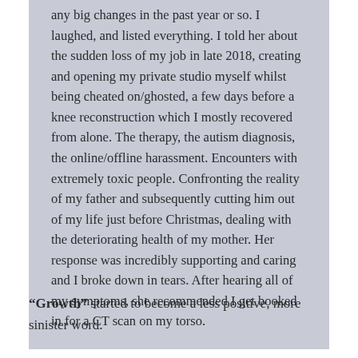any big changes in the past year or so. I laughed, and listed everything. I told her about the sudden loss of my job in late 2018, creating and opening my private studio myself whilst being cheated on/ghosted, a few days before a knee reconstruction which I mostly recovered from alone. The therapy, the autism diagnosis, the online/offline harassment. Encounters with extremely toxic people. Confronting the reality of my father and subsequently cutting him out of my life just before Christmas, dealing with the deteriorating health of my mother. Her response was incredibly supporting and caring and I broke down in tears. After hearing all of my symptoms, she recommended I get booked in for a CT scan on my torso.
"Growth" started to become a less positive, more sinister word.